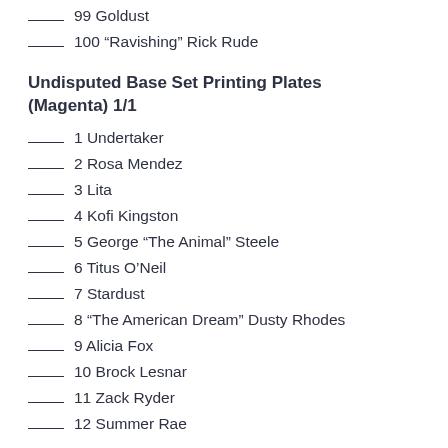___ 99 Goldust
___ 100 “Ravishing” Rick Rude
Undisputed Base Set Printing Plates (Magenta) 1/1
___ 1 Undertaker
___ 2 Rosa Mendez
___ 3 Lita
___ 4 Kofi Kingston
___ 5 George “The Animal” Steele
___ 6 Titus O’Neil
___ 7 Stardust
___ 8 “The American Dream” Dusty Rhodes
___ 9 Alicia Fox
___ 10 Brock Lesnar
___ 11 Zack Ryder
___ 12 Summer Rae